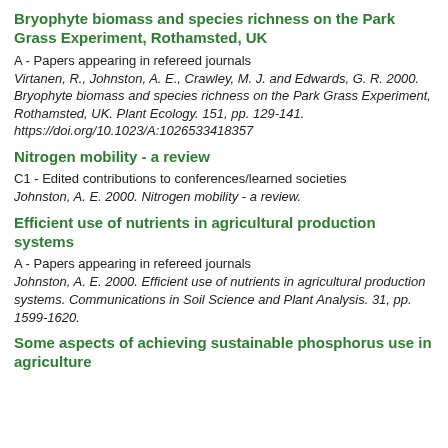Bryophyte biomass and species richness on the Park Grass Experiment, Rothamsted, UK
A - Papers appearing in refereed journals
Virtanen, R., Johnston, A. E., Crawley, M. J. and Edwards, G. R. 2000. Bryophyte biomass and species richness on the Park Grass Experiment, Rothamsted, UK. Plant Ecology. 151, pp. 129-141. https://doi.org/10.1023/A:1026533418357
Nitrogen mobility - a review
C1 - Edited contributions to conferences/learned societies
Johnston, A. E. 2000. Nitrogen mobility - a review.
Efficient use of nutrients in agricultural production systems
A - Papers appearing in refereed journals
Johnston, A. E. 2000. Efficient use of nutrients in agricultural production systems. Communications in Soil Science and Plant Analysis. 31, pp. 1599-1620.
Some aspects of achieving sustainable phosphorus use in agriculture